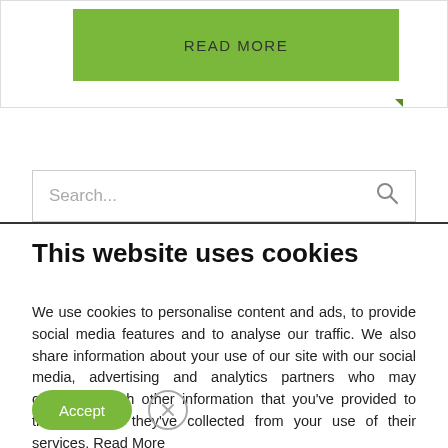[Figure (screenshot): Green READ MORE button in a white card section at top of page]
[Figure (screenshot): Search input box with placeholder text 'Search...' and magnifying glass icon on the right]
This website uses cookies
We use cookies to personalise content and ads, to provide social media features and to analyse our traffic. We also share information about your use of our site with our social media, advertising and analytics partners who may combine it with other information that you've provided to them or that they've collected from your use of their services. Read More
[Figure (screenshot): Accept button (green pill) and close/X button (circle with X) side by side]